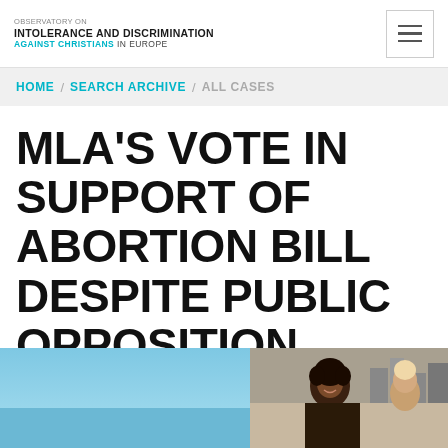OBSERVATORY ON INTOLERANCE AND DISCRIMINATION AGAINST CHRISTIANS IN EUROPE
HOME / SEARCH ARCHIVE / ALL CASES
MLA'S VOTE IN SUPPORT OF ABORTION BILL DESPITE PUBLIC OPPOSITION
[Figure (photo): Two-panel photo strip: left panel shows a blue sky, right panel shows a woman smiling outdoors with buildings in background]